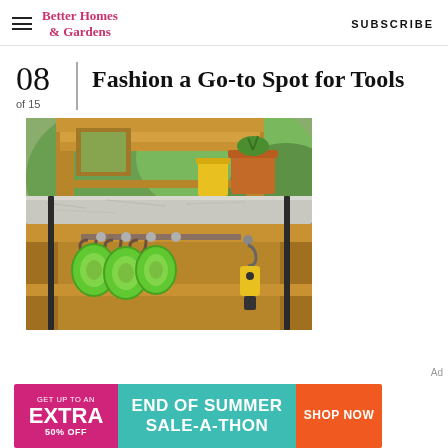Better Homes & Gardens | SUBSCRIBE
08 of 15
Fashion a Go-to Spot for Tools
[Figure (photo): A wooden potting bench or garden workstation with a stone/concrete top surface. Green handled garden tools hang from hooks underneath the countertop. A yellow metal cup and a terracotta clay pot with a plant are on top. The background shows greenery.]
Ad
[Figure (infographic): Advertisement banner: Left pink section says GET UP TO AN EXTRA 50% OFF. Center teal section says END OF SUMMER SALE-A-THON. Right orange section has a SHOP NOW button.]